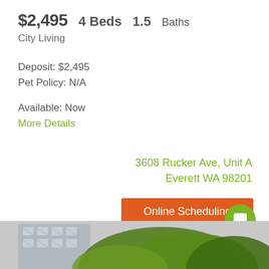$2,495   4 Beds   1.5 Baths
City Living
Deposit: $2,495
Pet Policy: N/A
Available: Now
More Details
3608 Rucker Ave, Unit A
Everett WA 98201
Online Scheduling
Apply Now
[Figure (photo): Bottom strip showing partial view of a building with windows and green foliage/trees]